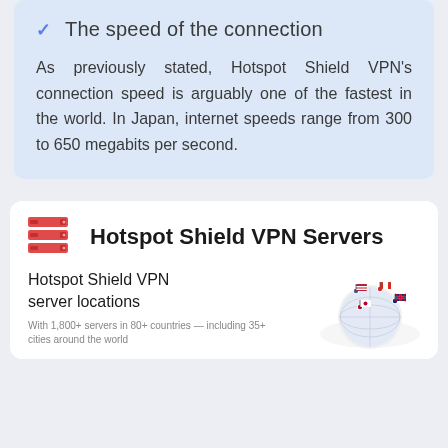The speed of the connection
As previously stated, Hotspot Shield VPN's connection speed is arguably one of the fastest in the world. In Japan, internet speeds range from 300 to 650 megabits per second.
Hotspot Shield VPN Servers
Hotspot Shield VPN server locations
With 1,800+ servers in 80+ countries — including 35+ cities around the world